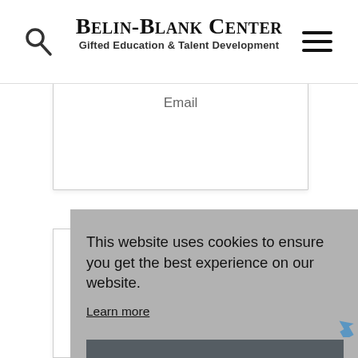Belin-Blank Center Gifted Education & Talent Development
Email
[Figure (screenshot): Partial view of a card with an icon showing two shapes (triangle and curved shape) in dark gray]
This website uses cookies to ensure you get the best experience on our website. Learn more
Got it!